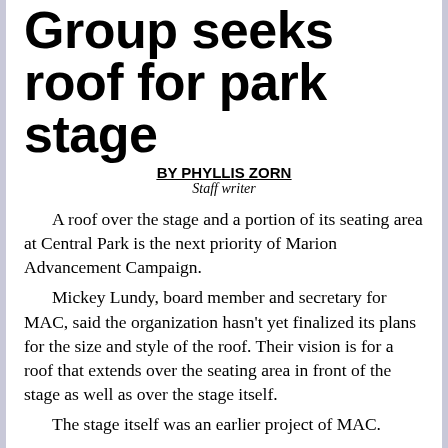Group seeks roof for park stage
BY PHYLLIS ZORN
Staff writer
A roof over the stage and a portion of its seating area at Central Park is the next priority of Marion Advancement Campaign.
Mickey Lundy, board member and secretary for MAC, said the organization hasn’t yet finalized its plans for the size and style of the roof. Their vision is for a roof that extends over the seating area in front of the stage as well as over the stage itself.
The stage itself was an earlier project of MAC.
“We are finishing the Central Park stage roof, that is the primary focus right now,” Lundy said.
Lundy said when the MAC board meets tonight, they will hear more about the project from